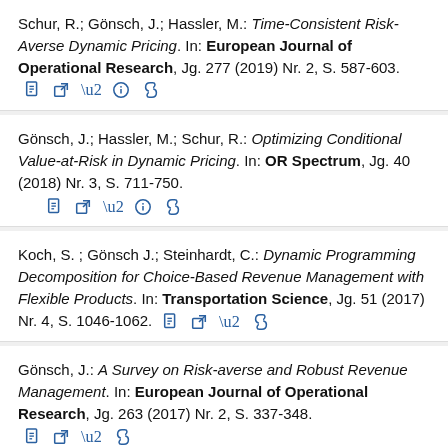Schur, R.; Gönsch, J.; Hassler, M.: Time-Consistent Risk-Averse Dynamic Pricing. In: European Journal of Operational Research, Jg. 277 (2019) Nr. 2, S. 587-603.
Gönsch, J.; Hassler, M.; Schur, R.: Optimizing Conditional Value-at-Risk in Dynamic Pricing. In: OR Spectrum, Jg. 40 (2018) Nr. 3, S. 711-750.
Koch, S. ; Gönsch J.; Steinhardt, C.: Dynamic Programming Decomposition for Choice-Based Revenue Management with Flexible Products. In: Transportation Science, Jg. 51 (2017) Nr. 4, S. 1046-1062.
Gönsch, J.: A Survey on Risk-averse and Robust Revenue Management. In: European Journal of Operational Research, Jg. 263 (2017) Nr. 2, S. 337-348.